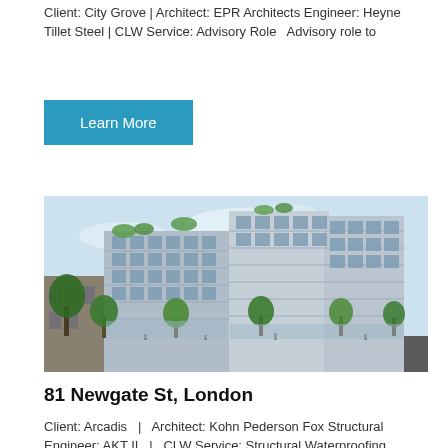Client: City Grove | Architect: EPR Architects Engineer: Heyne Tillet Steel | CLW Service: Advisory Role  Advisory role to
Learn More
[Figure (photo): Architectural rendering of a modern multi-storey mixed-use development with glass facades and roof terraces, surrounded by trees on a city street.]
81 Newgate St, London
Client: Arcadis   |   Architect: Kohn Pederson Fox Structural Engineer: AKT II   |   CLW Service: Structural Waterproofing Design